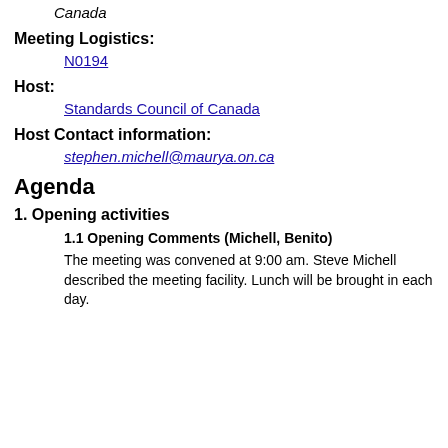Canada
Meeting Logistics:
N0194
Host:
Standards Council of Canada
Host Contact information:
stephen.michell@maurya.on.ca
Agenda
1. Opening activities
1.1 Opening Comments (Michell, Benito)
The meeting was convened at 9:00 am. Steve Michell described the meeting facility. Lunch will be brought in each day.